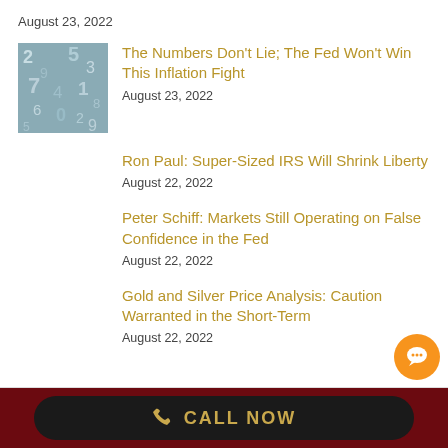August 23, 2022
[Figure (photo): Thumbnail image of scattered numbers on a blue background]
The Numbers Don't Lie; The Fed Won't Win This Inflation Fight
August 23, 2022
Ron Paul: Super-Sized IRS Will Shrink Liberty
August 22, 2022
Peter Schiff: Markets Still Operating on False Confidence in the Fed
August 22, 2022
Gold and Silver Price Analysis: Caution Warranted in the Short-Term
August 22, 2022
CALL NOW